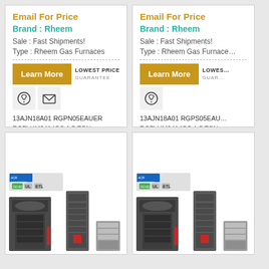Email For Price
Brand : Rheem
Sale : Fast Shipments!
Type : Rheem Gas Furnaces
13AJN18A01 RGPN05EAUER RCFLHM2414CC 1.5 TON Rheem Gas Furnace Central Split System SEER 13
Email For Price
Brand : Rheem
Sale : Fast Shipments!
Type : Rheem Gas Furnaces
13AJN18A01 RGPS05EAUER RCFLHM2414CC 1.5 TON Rheem Gas Furnace Central Split System SEER 13
[Figure (photo): Rheem HVAC gas furnace central split system unit photo]
[Figure (photo): Rheem HVAC gas furnace central split system unit photo]